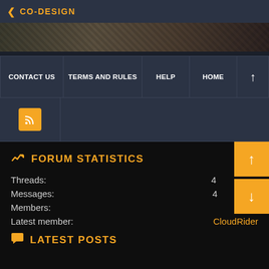< CO-DESIGN
[Figure (photo): Dark textured banner image with rocky/stone background]
CONTACT US  TERMS AND RULES  HELP  HOME  ↑
[Figure (other): RSS feed button (orange square with RSS icon)]
FORUM STATISTICS
Threads:
Messages:
Members: 1,892
Latest member: CloudRider
LATEST POSTS